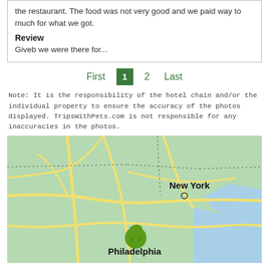the restaurant. The food was not very good and we paid way to much for what we got.
Review
Giveb we were there for...
First  1  2  Last
Note: It is the responsibility of the hotel chain and/or the individual property to ensure the accuracy of the photos displayed. TripsWithPets.com is not responsible for any inaccuracies in the photos.
[Figure (map): Map showing northeastern United States with New York and Philadelphia labeled. A green location pin marker is visible near Philadelphia.]